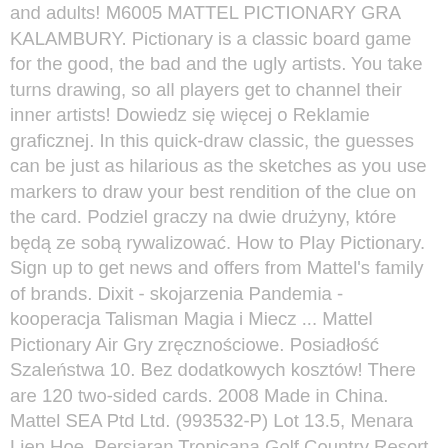and adults! M6005 MATTEL PICTIONARY GRA KALAMBURY. Pictionary is a classic board game for the good, the bad and the ugly artists. You take turns drawing, so all players get to channel their inner artists! Dowiedz się więcej o Reklamie graficznej. In this quick-draw classic, the guesses can be just as hilarious as the sketches as you use markers to draw your best rendition of the clue on the card. Podziel graczy na dwie drużyny, które będą ze sobą rywalizować. How to Play Pictionary. Sign up to get news and offers from Mattel's family of brands. Dixit - skojarzenia Pandemia - kooperacja Talisman Magia i Miecz ... Mattel Pictionary Air Gry zręcznościowe. Posiadłość Szaleństwa 10. Bez dodatkowych kosztów! There are 120 two-sided cards. 2008 Made in China. Mattel SEA Ptd Ltd. (993532-P) Lot 13.5, Menara Lien Hoe, Persiaran Tropicana Golf Country Resort, 47410 PJ. Visit the Mattel Store ... Mattel Pictionary - The Game of Quick Draw. Sign up to get news and offers from Mattel's family of brands. Approximately US $14.68 (including shipping) Pictionary Junior